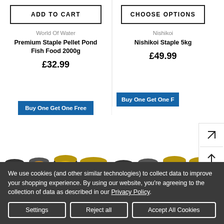ADD TO CART
CHOOSE OPTIONS
World Of Water
Nishikoi
Premium Staple Pellet Pond Fish Food 2000g
Nishikoi Staple 5kg
£32.99
£49.99
Buy One Get One Free
Buy One Get One F
[Figure (photo): Row of colorful fish food jars displayed beneath two product listings]
We use cookies (and other similar technologies) to collect data to improve your shopping experience. By using our website, you're agreeing to the collection of data as described in our Privacy Policy.
Settings
Reject all
Accept All Cookies